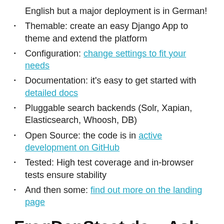English but a major deployment is in German!
Themable: create an easy Django App to theme and extend the platform
Configuration: change settings to fit your needs
Documentation: it's easy to get started with detailed docs
Pluggable search backends (Solr, Xapian, Elasticsearch, Whoosh, DB)
Open Source: the code is in active development on GitHub
Tested: High test coverage and in-browser tests ensure stability
And then some: find out more on the landing page
FragDenStaat.de – Ask the State
Froide got started back in spring of 2011 when OKF Germany decided to create an FOI site. Unfortunately at